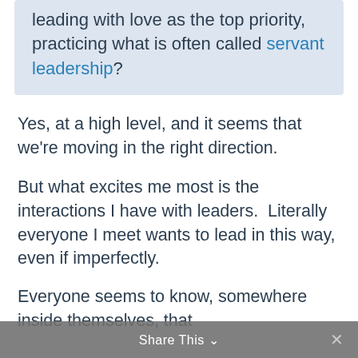leading with love as the top priority, practicing what is often called servant leadership?
Yes, at a high level, and it seems that we're moving in the right direction.
But what excites me most is the interactions I have with leaders.  Literally everyone I meet wants to lead in this way, even if imperfectly.
Everyone seems to know, somewhere inside themselves, that
Share This ∨  ×